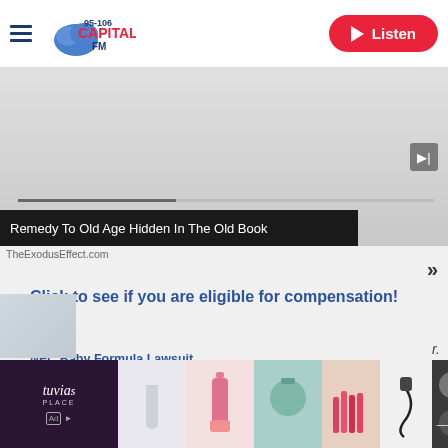95-106 Capital FM — Listen
[Figure (screenshot): Advertisement banner showing grey background with skip button and progress bar]
Remedy To Old Age Hidden In The Old Book
TheExodusEffect.com
Click to see if you are eligible for compensation!
NEC Baby Formula Lawsuit
[Figure (advertisement): Bottom banner ad: Tuvia's Place cosmetics advertisement with product images and close button]